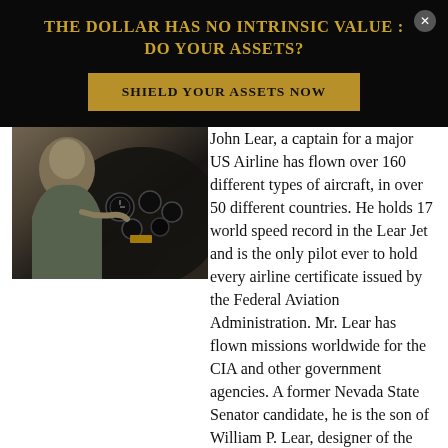THE DOLLAR HAS NO INTRINSIC VALUE : DO YOUR ASSETS?
SHIELD YOUR ASSETS NOW
[Figure (photo): Photograph of John Lear in an aircraft cockpit, showing instrument panels and controls]
John Lear, a captain for a major US Airline has flown over 160 different types of aircraft, in over 50 different countries. He holds 17 world speed record in the Lear Jet and is the only pilot ever to hold every airline certificate issued by the Federal Aviation Administration. Mr. Lear has flown missions worldwide for the CIA and other government agencies. A former Nevada State Senator candidate, he is the son of William P. Lear, designer of the Lear Jet executive airplane, the 8-track stereo, and founder of Lear Siegler Corporation. Detailed aviation biography.